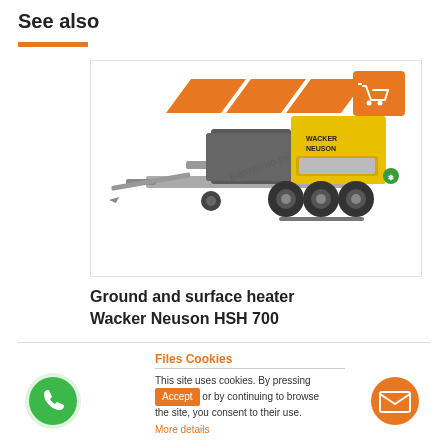See also
[Figure (photo): Ground and surface heater Wacker Neuson HSH 700 — yellow industrial heater on a trailer with extended arm, shown on white background with orange diagonal stripe decorations and a shopping cart icon]
Ground and surface heater Wacker Neuson HSH 700
Files Cookies
This site uses cookies. By pressing Accept or by continuing to browse the site, you consent to their use.
More details